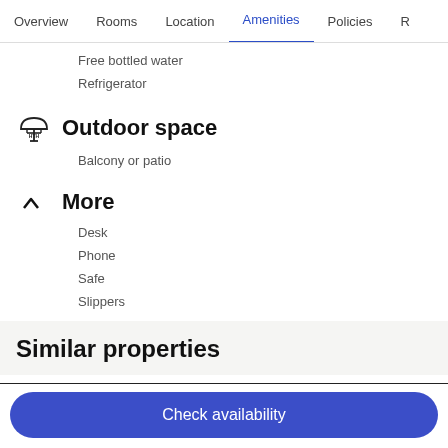Overview  Rooms  Location  Amenities  Policies  R
Free bottled water
Refrigerator
Outdoor space
Balcony or patio
More
Desk
Phone
Safe
Slippers
Similar properties
Check availability